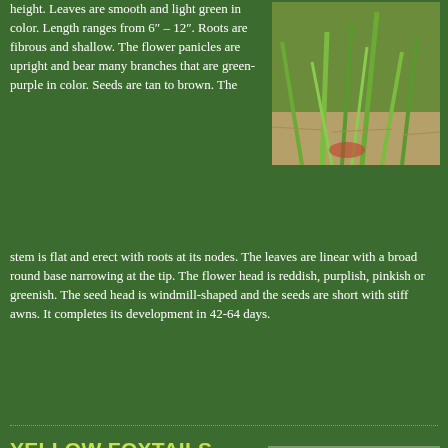height. Leaves are smooth and light green in color. Length ranges from 6" – 12". Roots are fibrous and shallow. The flower panicles are upright and bear many branches that are green-purple in color. Seeds are tan to brown. The stem is flat and erect with roots at its nodes. The leaves are linear with a broad round base narrowing at the tip. The flower head is reddish, purplish, pinkish or greenish. The seed head is windmill-shaped and the seeds are short with stiff awns. It completes its development in 42-64 days.
[Figure (photo): Close-up photo of a green grass plant with long narrow leaves, likely barnyardgrass or similar grass weed]
YELLOW FOXTAILS
Description: Yellow foxtail forms a coarse, upright or prostrate, bunch-type grass. It usually branches at the base and may root at lower nodes. Growing up to 4 feet tall, yellow foxtail emerges from a shallow, fibrous root system and usually has flat-sided
[Figure (photo): Photo of yellow foxtail grass plants with distinctive seed heads drooping in the wind]